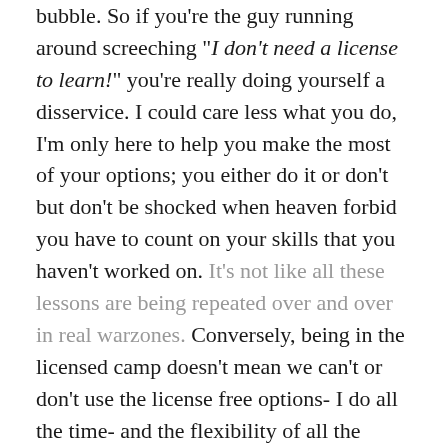bubble. So if you're the guy running around screeching "I don't need a license to learn!" you're really doing yourself a disservice. I could care less what you do, I'm only here to help you make the most of your options; you either do it or don't but don't be shocked when heaven forbid you have to count on your skills that you haven't worked on. It's not like all these lessons are being repeated over and over in real warzones. Conversely, being in the licensed camp doesn't mean we can't or don't use the license free options- I do all the time- and the flexibility of all the options gives us a broad range to use in our SOI and PACE plans in training.
And that brings us to what we can cross off the list up